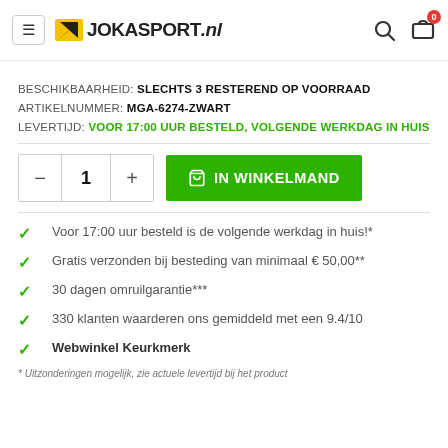JOKASPORT.nl
BESCHIKBAARHEID: SLECHTS 3 RESTEREND OP VOORRAAD
ARTIKELNUMMER: MGA-6274-ZWART
LEVERTIJD: VOOR 17:00 UUR BESTELD, VOLGENDE WERKDAG IN HUIS
[Figure (screenshot): Quantity selector with minus, 1, plus buttons and green IN WINKELMAND (add to cart) button]
Voor 17:00 uur besteld is de volgende werkdag in huis!*
Gratis verzonden bij besteding van minimaal € 50,00**
30 dagen omruilgarantie***
330 klanten waarderen ons gemiddeld met een 9.4/10
Webwinkel Keurkmerk
* Uitzonderingen mogelijk, zie actuele levertijd bij het product